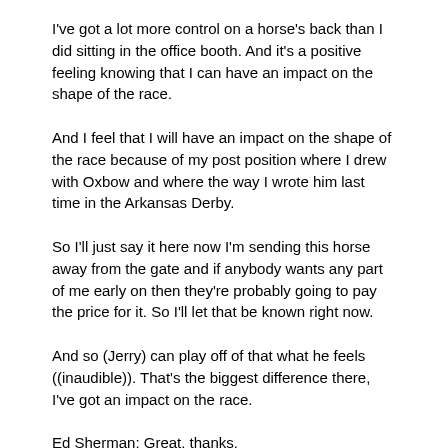I've got a lot more control on a horse's back than I did sitting in the office booth. And it's a positive feeling knowing that I can have an impact on the shape of the race.
And I feel that I will have an impact on the shape of the race because of my post position where I drew with Oxbow and where the way I wrote him last time in the Arkansas Derby.
So I'll just say it here now I'm sending this horse away from the gate and if anybody wants any part of me early on then they're probably going to pay the price for it. So I'll let that be known right now.
And so (Jerry) can play off of that what he feels ((inaudible)). That's the biggest difference there, I've got an impact on the race.
Ed Sherman: Great, thanks.